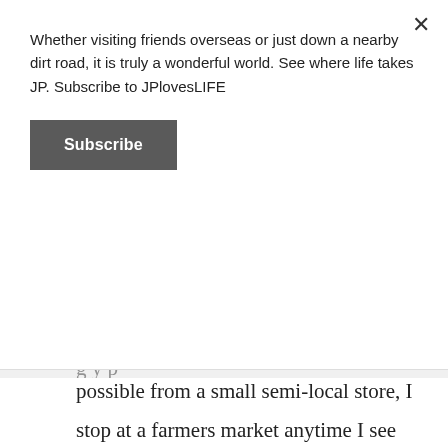Whether visiting friends overseas or just down a nearby dirt road, it is truly a wonderful world. See where life takes JP. Subscribe to JPlovesLIFE
Subscribe
possible from a small semi-local store, I stop at a farmers market anytime I see one and have the time-especially for seasonal produce. BUT sometimes I get my produce at Walmart or Aldi's. Because I can't shop